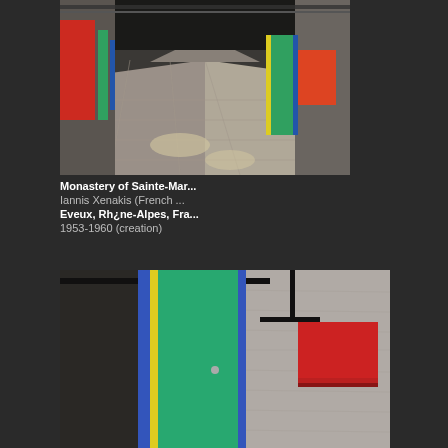[Figure (photo): Interior corridor of the Monastery of Sainte-Marie de La Tourette, showing a long hallway with colored doors (red, green) and panels on concrete walls, with sunlight reflecting on the floor tiles.]
Monastery of Sainte-Mar...
Iannis Xenakis (French ...
Eveux, Rhône-Alpes, Fra...
1953-1960 (creation)
[Figure (photo): Close-up photograph of the monastery exterior/interior showing a teal/green door with yellow and blue frame strips on concrete, and a red rectangular panel (like a mailbox or sign) mounted on a textured concrete wall with a black metal bracket overhead.]